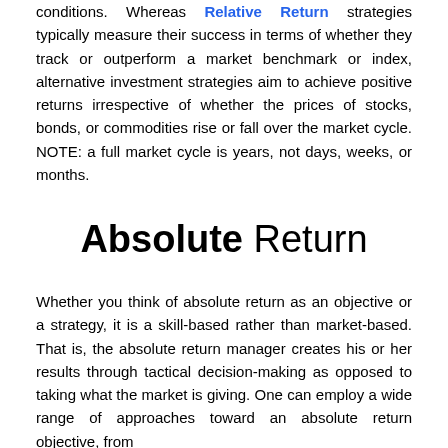conditions. Whereas Relative Return strategies typically measure their success in terms of whether they track or outperform a market benchmark or index, alternative investment strategies aim to achieve positive returns irrespective of whether the prices of stocks, bonds, or commodities rise or fall over the market cycle. NOTE: a full market cycle is years, not days, weeks, or months.
Absolute Return
Whether you think of absolute return as an objective or a strategy, it is a skill-based rather than market-based. That is, the absolute return manager creates his or her results through tactical decision-making as opposed to taking what the market is giving. One can employ a wide range of approaches toward an absolute return objective, from